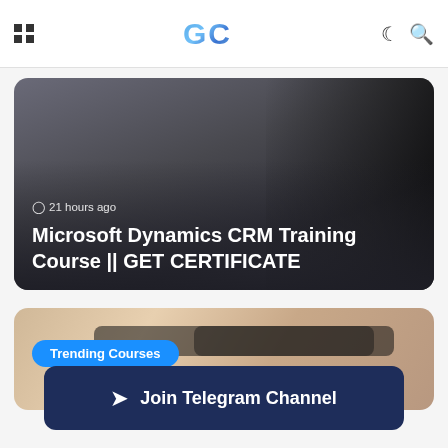[Figure (screenshot): Website header with grid icon on left, GC logo in center (blue gradient), moon and search icons on right, with Microsoft Dynamics 365 watermark text behind]
[Figure (photo): Featured article card with dark background, showing a hand/phone partially visible on the right, with time stamp '21 hours ago' and article title overlay]
21 hours ago
Microsoft Dynamics CRM Training Course || GET CERTIFICATE
[Figure (photo): Trending card showing a smiling woman with glasses, with a blue 'Trending Courses' badge overlay]
Trending Courses
Join Telegram Channel